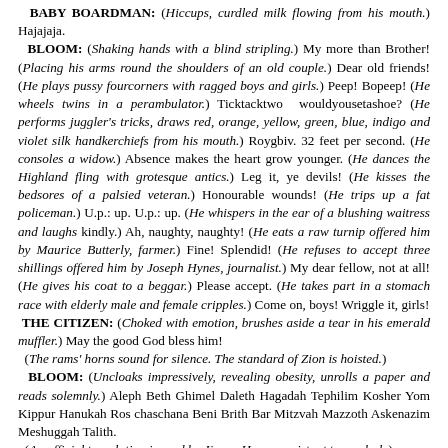BABY BOARDMAN: (Hiccups, curdled milk flowing from his mouth.) Hajajaja.
 BLOOM: (Shaking hands with a blind stripling.) My more than Brother! (Placing his arms round the shoulders of an old couple.) Dear old friends! (He plays pussy fourcorners with ragged boys and girls.) Peep! Bopeep! (He wheels twins in a perambulator.) Ticktacktwo wouldyousetashoe? (He performs juggler's tricks, draws red, orange, yellow, green, blue, indigo and violet silk handkerchiefs from his mouth.) Roygbiv. 32 feet per second. (He consoles a widow.) Absence makes the heart grow younger. (He dances the Highland fling with grotesque antics.) Leg it, ye devils! (He kisses the bedsores of a palsied veteran.) Honourable wounds! (He trips up a fat policeman.) U.p.: up. U.p.: up. (He whispers in the ear of a blushing waitress and laughs kindly.) Ah, naughty, naughty! (He eats a raw turnip offered him by Maurice Butterly, farmer.) Fine! Splendid! (He refuses to accept three shillings offered him by Joseph Hynes, journalist.) My dear fellow, not at all! (He gives his coat to a beggar.) Please accept. (He takes part in a stomach race with elderly male and female cripples.) Come on, boys! Wriggle it, girls!
 THE CITIZEN: (Choked with emotion, brushes aside a tear in his emerald muffler.) May the good God bless him!
 (The rams' horns sound for silence. The standard of Zion is hoisted.)
 BLOOM: (Uncloaks impressively, revealing obesity, unrolls a paper and reads solemnly.) Aleph Beth Ghimel Daleth Hagadah Tephilim Kosher Yom Kippur Hanukah Ros chaschana Beni Brith Bar Mitzvah Mazzoth Askenazim Meshuggah Talith.
 (An official translation is read by Jimmy Henry, assistant town clerk.)